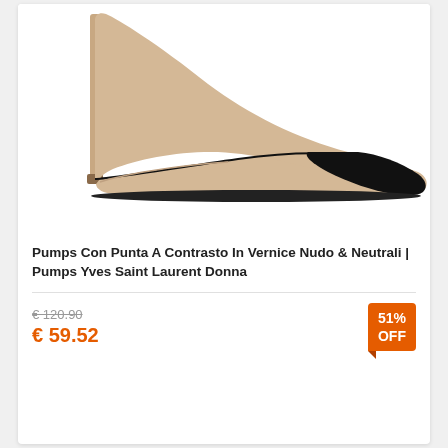[Figure (photo): A high-heel pump shoe with beige/nude suede body and black cap toe, side profile view on white background.]
Pumps Con Punta A Contrasto In Vernice Nudo & Neutrali | Pumps Yves Saint Laurent Donna
€ 120.90 (strikethrough original price) € 59.52 (sale price) 51% OFF